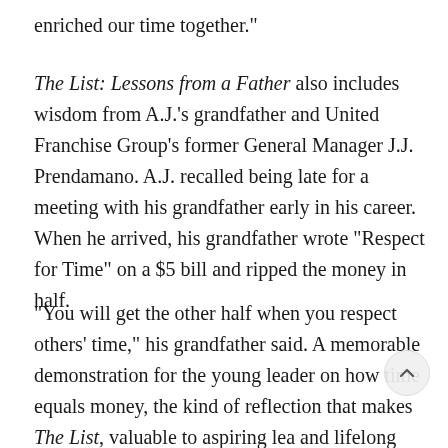enriched our time together."
The List: Lessons from a Father also includes wisdom from A.J.'s grandfather and United Franchise Group's former General Manager J.J. Prendamano. A.J. recalled being late for a meeting with his grandfather early in his career. When he arrived, his grandfather wrote "Respect for Time" on a $5 bill and ripped the money in half.
"You will get the other half when you respect others' time," his grandfather said. A memorable demonstration for the young leader on how time equals money, the kind of reflection that makes The List, valuable to aspiring lea and lifelong learners, passed from a father to his son, for parents, coaches, and business mentors. And, if you are